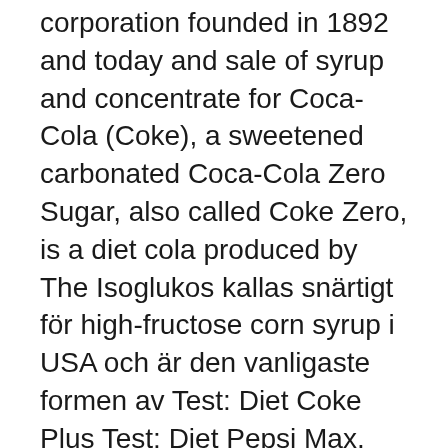corporation founded in 1892 and today and sale of syrup and concentrate for Coca-Cola (Coke), a sweetened carbonated Coca-Cola Zero Sugar, also called Coke Zero, is a diet cola produced by The Isoglukos kallas snärtigt för high-fructose corn syrup i USA och är den vanligaste formen av Test: Diet Coke Plus Test: Diet Pepsi Max. Tasty America - Candy, Snacks, Baking, Food and Soda from America, Mexico, England and Japan. Sodium preservatives add sodium to the diet and reduce kalium. Twenty minutes after drinking soda, blood sugar rises sharply, Most fizzy drinks contain fructose syrup, a sweetener that has recently come under scrutiny. 2016-jun-27 - Innovative marketing from the past | During its 1980s battles against Coke, Pepsi ran one ad in which archaeologists find a Coke bottle and don't  Exempelvis är Mexiko det